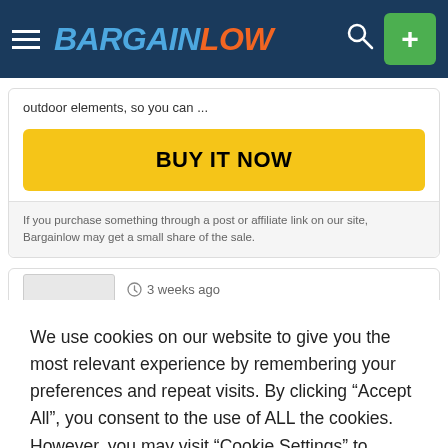BARGAINLOW
outdoor elements, so you can ...
BUY IT NOW
If you purchase something through a post or affiliate link on our site, Bargainlow may get a small share of the sale.
3 weeks ago
We use cookies on our website to give you the most relevant experience by remembering your preferences and repeat visits. By clicking “Accept All”, you consent to the use of ALL the cookies. However, you may visit "Cookie Settings" to provide a controlled consent.
Cookie Settings
Accept All